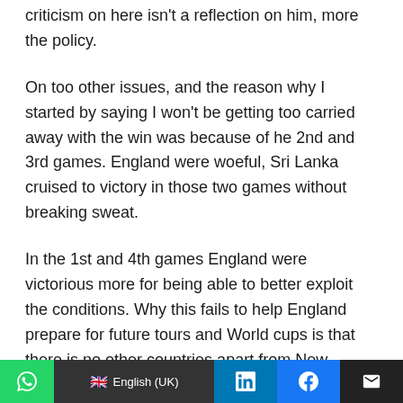criticism on here isn't a reflection on him, more the policy.
On too other issues, and the reason why I started by saying I won't be getting too carried away with the win was because of he 2nd and 3rd games. England were woeful, Sri Lanka cruised to victory in those two games without breaking sweat.
In the 1st and 4th games England were victorious more for being able to better exploit the conditions. Why this fails to help England prepare for future tours and World cups is that there is no other countries apart from New Zealand and occasionally South Africa where England
WhatsApp | English (UK) | LinkedIn | Facebook | Email | +